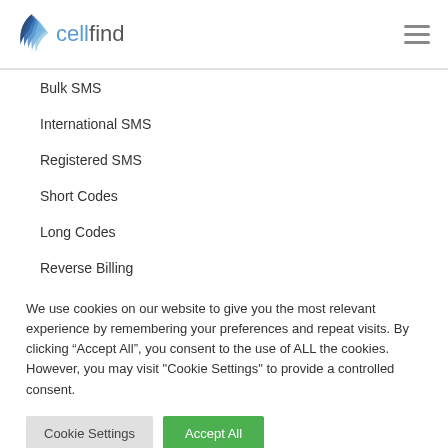cellfind
Bulk SMS
International SMS
Registered SMS
Short Codes
Long Codes
Reverse Billing
USSD
We use cookies on our website to give you the most relevant experience by remembering your preferences and repeat visits. By clicking “Accept All”, you consent to the use of ALL the cookies. However, you may visit "Cookie Settings" to provide a controlled consent.
Cookie Settings | Accept All